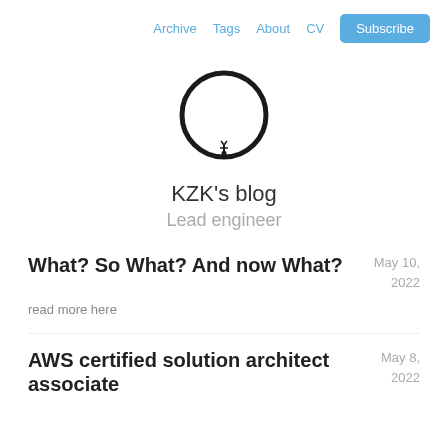Archive  Tags  About  CV  Subscribe
[Figure (illustration): Circular logo/avatar placeholder with a thick black circle outline and a small figure/person silhouette at the bottom center]
KZK's blog
Lead engineer
What? So What? And now What?
May 10, 2022
read more here
AWS certified solution architect associate
May 8, 2022